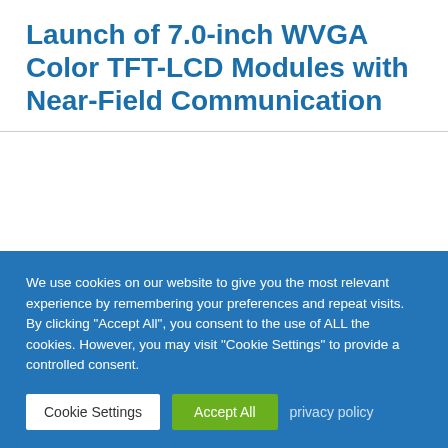Launch of 7.0-inch WVGA Color TFT-LCD Modules with Near-Field Communication
We use cookies on our website to give you the most relevant experience by remembering your preferences and repeat visits. By clicking "Accept All", you consent to the use of ALL the cookies. However, you may visit "Cookie Settings" to provide a controlled consent.